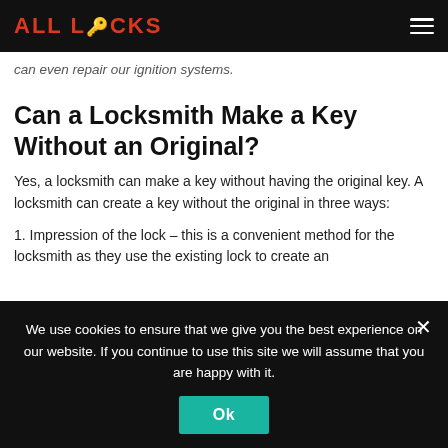ALL LOCKS [logo/nav bar]
can even repair our ignition systems.
Can a Locksmith Make a Key Without an Original?
Yes, a locksmith can make a key without having the original key. A locksmith can create a key without the original in three ways:
1. Impression of the lock – this is a convenient method for the locksmith as they use the existing lock to create an
We use cookies to ensure that we give you the best experience on our website. If you continue to use this site we will assume that you are happy with it.
Ok